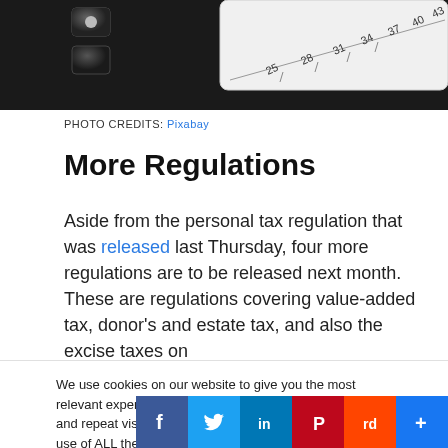[Figure (photo): Partial photo of a calculator and ruler with measurement markings (25, 28, 31, 34, 37, 40, 43) visible at the top of the page]
PHOTO CREDITS: Pixabay
More Regulations
Aside from the personal tax regulation that was released last Thursday, four more regulations are to be released next month. These are regulations covering value-added tax, donor’s and estate tax, and also the excise taxes on
We use cookies on our website to give you the most relevant experience by remembering your preferences and repeat visits. By clicking “Accept”, you consent to the use of ALL the cookies.
Cookie Settings   ACCEPT